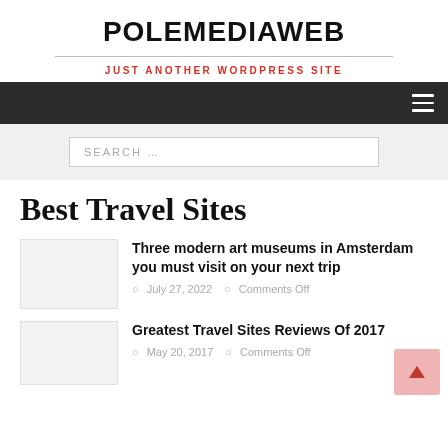POLEMEDIAWEB
JUST ANOTHER WORDPRESS SITE
SEARCH …
Best Travel Sites
Three modern art museums in Amsterdam you must visit on your next trip
July 27, 2022   Comments Off
Greatest Travel Sites Reviews Of 2017
May 20, 2017   Comments Off